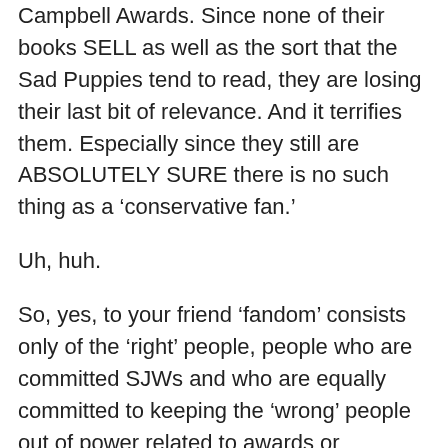Campbell Awards. Since none of their books SELL as well as the sort that the Sad Puppies tend to read, they are losing their last bit of relevance. And it terrifies them. Especially since they still are ABSOLUTELY SURE there is no such thing as a ‘conservative fan.’
Uh, huh.
So, yes, to your friend ‘fandom’ consists only of the ‘right’ people, people who are committed SJWs and who are equally committed to keeping the ‘wrong’ people out of power related to awards or management of the Hugos or WorldCon.
Also your comment that the Sad Puppies